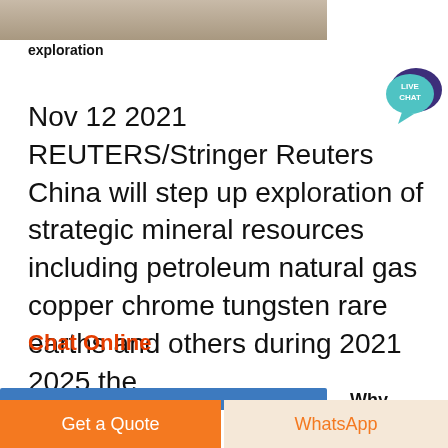[Figure (photo): Partial photo strip showing industrial or mining exploration site]
exploration
[Figure (other): Live Chat speech bubble badge with teal/purple colors and text LIVE CHAT]
Nov 12 2021  REUTERS/Stringer Reuters China will step up exploration of strategic mineral resources including petroleum natural gas copper chrome tungsten rare earths and others during 2021 2025 the
Chat Online
[Figure (other): Blue progress/image bar and Why text partially visible]
Get a Quote
WhatsApp